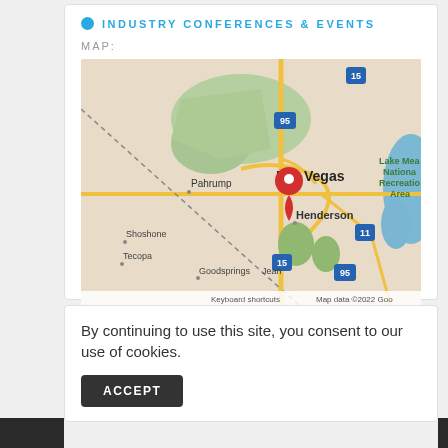INDUSTRY CONFERENCES & EVENTS
MAP:
[Figure (map): Google Map showing Las Vegas, Nevada area with a red location pin on Las Vegas, showing surrounding areas including Pahrump, Henderson, Shoshone, Tecopa, Goodsprings, Jean, and Lake Mead National Recreation Area. Highway markers visible: 15, 95, 11. Copyright text: Keyboard shortcuts | Map data ©2022 Goo]
By continuing to use this site, you consent to our use of cookies.